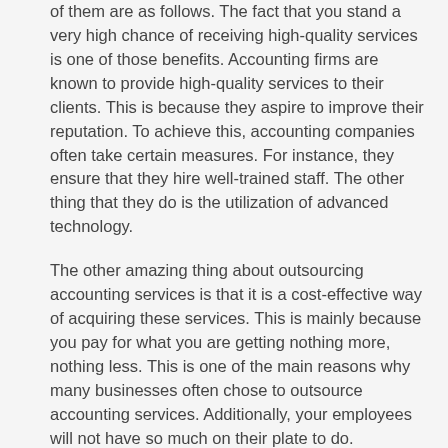of them are as follows. The fact that you stand a very high chance of receiving high-quality services is one of those benefits. Accounting firms are known to provide high-quality services to their clients. This is because they aspire to improve their reputation. To achieve this, accounting companies often take certain measures. For instance, they ensure that they hire well-trained staff. The other thing that they do is the utilization of advanced technology.
The other amazing thing about outsourcing accounting services is that it is a cost-effective way of acquiring these services. This is mainly because you pay for what you are getting nothing more, nothing less. This is one of the main reasons why many businesses often chose to outsource accounting services. Additionally, your employees will not have so much on their plate to do. Therefore, it creates time for the employees to carry out other operations of the business. Hence the increase in productivity.
In conclusion, it will be easier for you to offer high-